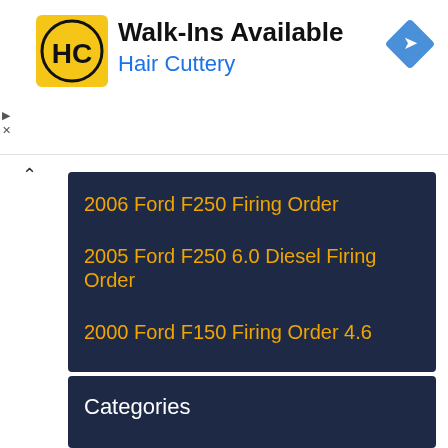[Figure (logo): Hair Cuttery logo — yellow circle with black HC monogram]
Walk-Ins Available
Hair Cuttery
[Figure (logo): Blue diamond navigation/directions icon]
2006 Ford F250 Firing Order
2005 Ford F250 6.0 Diesel Firing Order
2000 Ford F150 Firing Order 4.6
95 Ford 5.0 Firing Order
2001 Ford Ranger 3.0 L Firing Order
Categories